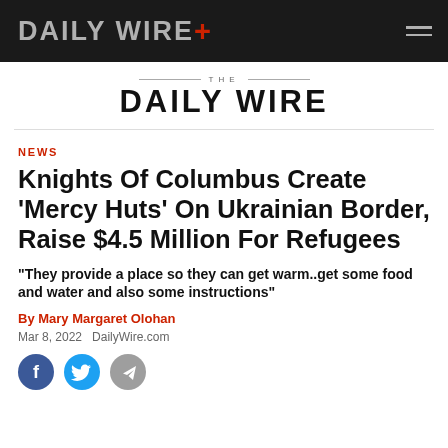DAILY WIRE+
[Figure (logo): THE DAILY WIRE secondary logo with horizontal rules]
NEWS
Knights Of Columbus Create 'Mercy Huts' On Ukrainian Border, Raise $4.5 Million For Refugees
"They provide a place so they can get warm..get some food and water and also some instructions"
By Mary Margaret Olohan
Mar 8, 2022  DailyWire.com